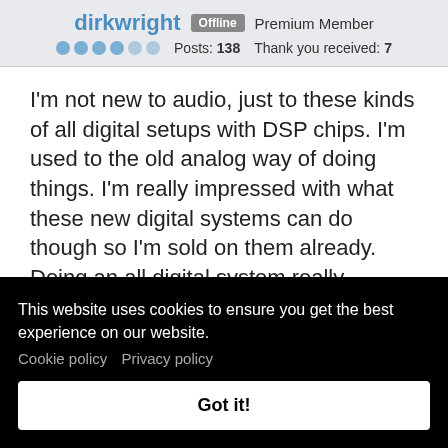dirkwright  Offline  Premium Member  ●●●●●●  Posts: 138  Thank you received: 7
I'm not new to audio, just to these kinds of all digital setups with DSP chips. I'm used to the old analog way of doing things. I'm really impressed with what these new digital systems can do though so I'm sold on them already. Doing an all digital system really reduces the number of boxes and cables as well, which makes for a neater appearance in the living room (where it's important). Thanks again for your
This website uses cookies to ensure you get the best experience on our website.
Cookie policy   Privacy policy
Got it!